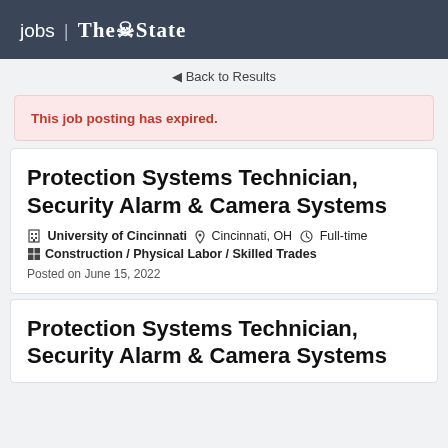jobs | The State
◄ Back to Results
This job posting has expired.
Protection Systems Technician, Security Alarm & Camera Systems
University of Cincinnati   Cincinnati, OH   Full-time
Construction / Physical Labor / Skilled Trades
Posted on June 15, 2022
Protection Systems Technician, Security Alarm & Camera Systems